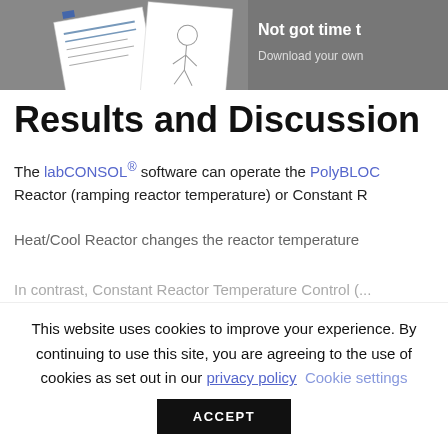[Figure (illustration): Gray banner with paper/document illustrations on the left and partial text 'Not got time to...' and 'Download your own...' on the right in white/light text.]
Results and Discussion
The labCONSOL® software can operate the PolyBLOC Reactor (ramping reactor temperature) or Constant R...
Heat/Cool Reactor changes the reactor temperature...
In contrast, Constant Reactor Temperature Control (...
This website uses cookies to improve your experience. By continuing to use this site, you are agreeing to the use of cookies as set out in our privacy policy   Cookie settings
ACCEPT